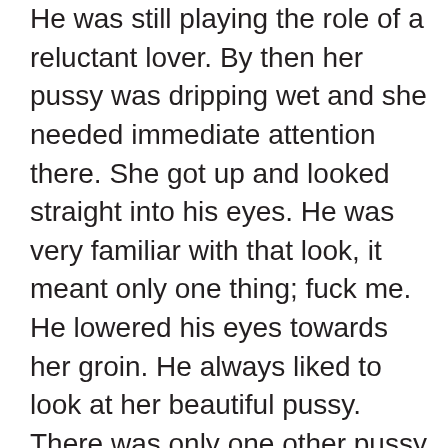He was still playing the role of a reluctant lover. By then her pussy was dripping wet and she needed immediate attention there. She got up and looked straight into his eyes. He was very familiar with that look, it meant only one thing; fuck me. He lowered his eyes towards her groin. He always liked to look at her beautiful pussy. There was only one other pussy in the world that he liked more than this one. Molly's pussy lips were swollen heavy and her little hole was gushing fluids, glistening and sending an invitation that she was ready for penetration. She positioned herself with her legs wide on each side of his waist and slowly lowered her body. His cock head touched her dripping entrance and she pushed forward. With a plopped sound his bulbous head entered into her tight hole. She wiggled and pushed and adjusted her tunnel to accommodate his huge cock inside her pussy. Soon she was able to take the entire length of his shaft inside her. David was still pretending he was watching the game, although he could